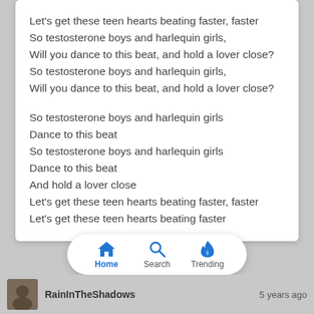Let's get these teen hearts beating faster, faster
So testosterone boys and harlequin girls,
Will you dance to this beat, and hold a lover close?
So testosterone boys and harlequin girls,
Will you dance to this beat, and hold a lover close?

So testosterone boys and harlequin girls
Dance to this beat
So testosterone boys and harlequin girls
Dance to this beat
And hold a lover close
Let's get these teen hearts beating faster, faster
Let's get these teen hearts beating faster
[Figure (screenshot): Mobile app navigation bar with Home, Search, and Trending icons]
RainInTheShadows    5 years ago